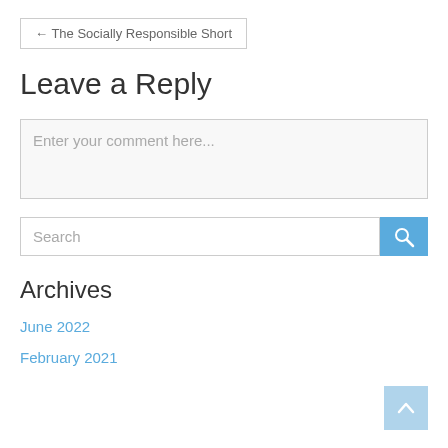← The Socially Responsible Short
Leave a Reply
Enter your comment here...
Search
Archives
June 2022
February 2021